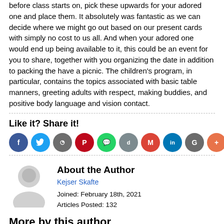before class starts on, pick these upwards for your adored one and place them. It absolutely was fantastic as we can decide where we might go out based on our present cards with simply no cost to us all. And when your adored one would end up being available to it, this could be an event for you to share, together with you organizing the date in addition to packing the have a picnic. The children's program, in particular, contains the topics associated with basic table manners, greeting adults with respect, making buddies, and positive body language and vision contact.
Like it? Share it!
[Figure (infographic): Row of social media share icon circles: Facebook (blue, f), Twitter (light blue, bird), Google (grey, g), Pinterest (red, P), WhatsApp (green, W), Digg (grey, d), Gmail (red, M), LinkedIn (blue, in), Google+ (dark grey, G), Plus (orange, +)]
About the Author
Kejser Skafte
Joined: February 18th, 2021
Articles Posted: 132
More by this author